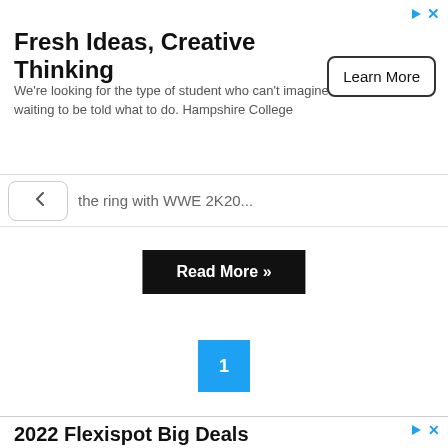[Figure (screenshot): Top advertisement banner for Hampshire College with headline 'Fresh Ideas, Creative Thinking', body text, and 'Learn More' button, with ad icons in top right]
the ring with WWE 2K20...
Read More »
1
[Figure (screenshot): Bottom advertisement banner for Flexispot with headline '2022 Flexispot Big Deals', ad icons in top right, and blue hand/cursor icon in bottom right]